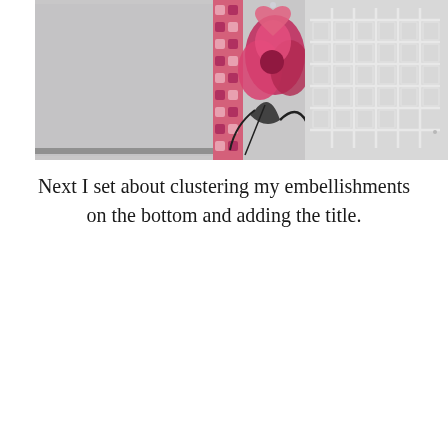[Figure (photo): Close-up photo of a scrapbooking layout showing a gray card/paper on the left, a floral patterned strip in the center with pink and red flowers, a white grid embossed pattern on the right side, and decorative floral embellishments.]
Next I set about clustering my embellishments on the bottom and adding the title.